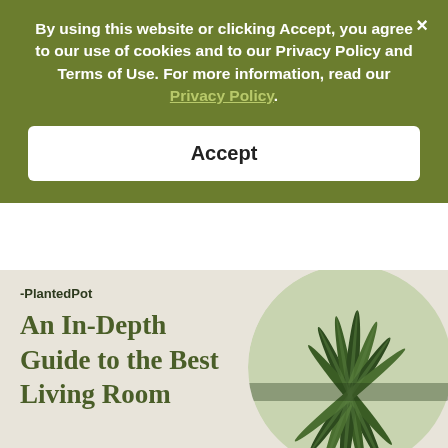By using this website or clicking Accept, you agree to our use of cookies and to our Privacy Policy and Terms of Use. For more information, read our Privacy Policy.
Accept
[Figure (screenshot): Website cookie consent banner overlay on a page about PlantedPot showing 'An In-Depth Guide to the Best Living Room' with a snake plant image in a circular frame]